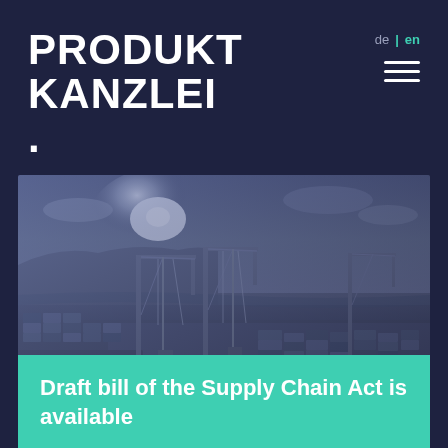PRODUKT KANZLEI.
de | en
[Figure (photo): Aerial view of a busy shipping port with container ships, cranes, and stacked cargo containers along a river, rendered in black and white with a blue-purple tint overlay.]
Draft bill of the Supply Chain Act is available